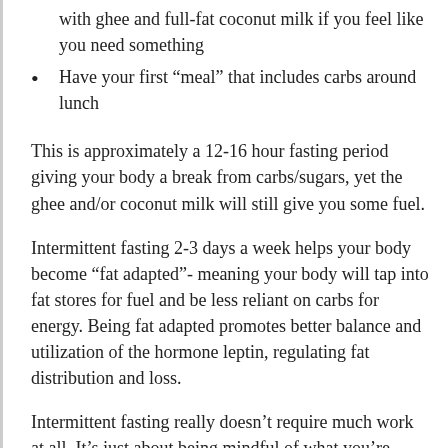with ghee and full-fat coconut milk if you feel like you need something
Have your first “meal” that includes carbs around lunch
This is approximately a 12-16 hour fasting period giving your body a break from carbs/sugars, yet the ghee and/or coconut milk will still give you some fuel.
Intermittent fasting 2-3 days a week helps your body become “fat adapted”- meaning your body will tap into fat stores for fuel and be less reliant on carbs for energy. Being fat adapted promotes better balance and utilization of the hormone leptin, regulating fat distribution and loss.
Intermittent fasting really doesn’t require much work at all. It’s just about being mindful of what you’re putting in your body. If you overindulge, give it a try to help keep